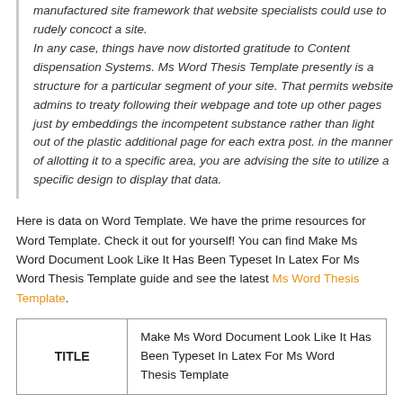...the old-fashioned importance of this word alluded to a pre-manufactured site framework that website specialists could use to rudely concoct a site.

In any case, things have now distorted gratitude to Content dispensation Systems. Ms Word Thesis Template presently is a structure for a particular segment of your site. That permits website admins to treaty following their webpage and tote up other pages just by embeddings the incompetent substance rather than light out of the plastic additional page for each extra post. in the manner of allotting it to a specific area, you are advising the site to utilize a specific design to display that data.
Here is data on Word Template. We have the prime resources for Word Template. Check it out for yourself! You can find Make Ms Word Document Look Like It Has Been Typeset In Latex For Ms Word Thesis Template guide and see the latest Ms Word Thesis Template.
| TITLE |  |
| --- | --- |
| TITLE | Make Ms Word Document Look Like It Has Been Typeset In Latex For Ms Word Thesis Template |